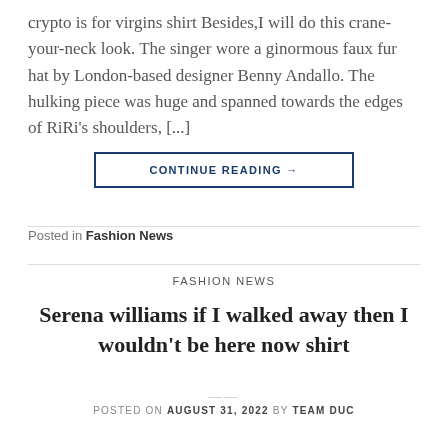crypto is for virgins shirt Besides,I will do this crane-your-neck look. The singer wore a ginormous faux fur hat by London-based designer Benny Andallo. The hulking piece was huge and spanned towards the edges of RiRi's shoulders, [...]
CONTINUE READING →
Posted in Fashion News
FASHION NEWS
Serena williams if I walked away then I wouldn't be here now shirt
POSTED ON AUGUST 31, 2022 BY TEAM DUC